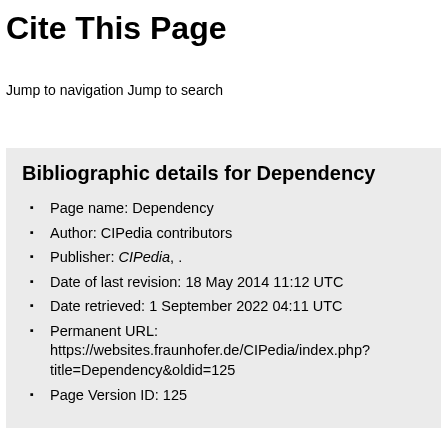Cite This Page
Jump to navigation Jump to search
Bibliographic details for Dependency
Page name: Dependency
Author: CIPedia contributors
Publisher: CIPedia, .
Date of last revision: 18 May 2014 11:12 UTC
Date retrieved: 1 September 2022 04:11 UTC
Permanent URL: https://websites.fraunhofer.de/CIPedia/index.php?title=Dependency&oldid=125
Page Version ID: 125